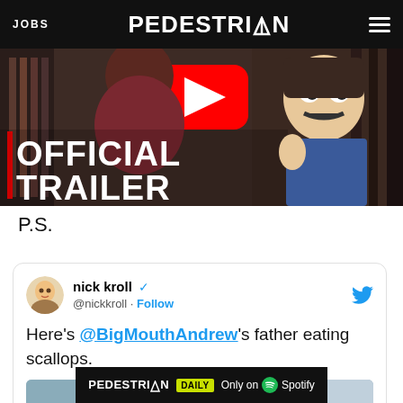JOBS | PEDESTRIAN | [menu]
[Figure (screenshot): Animated cartoon screenshot with text overlay reading OFFICIAL TRAILER and a YouTube play button in the upper center. Two animated characters visible.]
P.S.
[Figure (screenshot): Embedded tweet from nick kroll (@nickkroll) with verified badge and Follow button. Tweet text: Here's @BigMouthAndrew's father eating scallops. Twitter bird icon top right. Avatar shows animated character.]
PEDESTRIAN DAILY — Only on Spotify